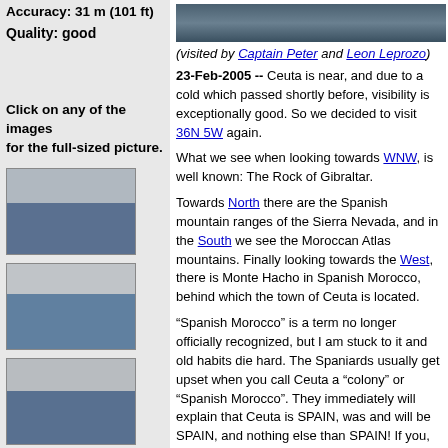Accuracy: 31 m (101 ft)
[Figure (photo): Seascape photo at top right]
Quality: good
(visited by Captain Peter and Leon Leprozo)
23-Feb-2005 -- Ceuta is near, and due to a cold which passed shortly before, visibility is exceptionally good. So we decided to visit 36N 5W again.
Click on any of the images for the full-sized picture.
What we see when looking towards WNW, is well known: The Rock of Gibraltar.
[Figure (photo): Seascape thumbnail 1 - landscape over sea]
Towards North there are the Spanish mountain ranges of the Sierra Nevada, and in the South we see the Moroccan Atlas mountains. Finally looking towards the West, there is Monte Hacho in Spanish Morocco, behind which the town of Ceuta is located.
[Figure (photo): Seascape thumbnail 2 - landscape over sea]
“Spanish Morocco” is a term no longer officially recognized, but I am stuck to it and old habits die hard. The Spaniards usually get upset when you call Ceuta a "colony" or "Spanish Morocco". They immediately will explain that Ceuta is SPAIN, was and will be SPAIN, and nothing else than SPAIN! If you, as a neutral force, continue to ask why Morocco is claiming Ceuta as their territory, then, they will reply that this is completely irrelevant and unfounded.
[Figure (photo): Seascape thumbnail 3 - landscape over sea]
If you are not satisfied with this explanation and dare to investigate further about Spain's own claims against British Gibraltar… then you will learn that is a completely different thing ;-)